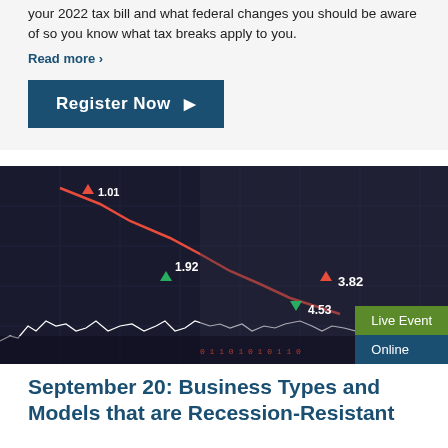your 2022 tax bill and what federal changes you should be aware of so you know what tax breaks apply to you.
Read more >
Register Now ▶
[Figure (photo): Stock market financial chart with red downward trending line and white volatility line overlay, with a person typing on a laptop in the background. Green up arrows show 1.92 and 4.53, red down arrows show 1.01 and 3.82.]
Live Event
Online
September 20: Business Types and Models that are Recession-Resistant